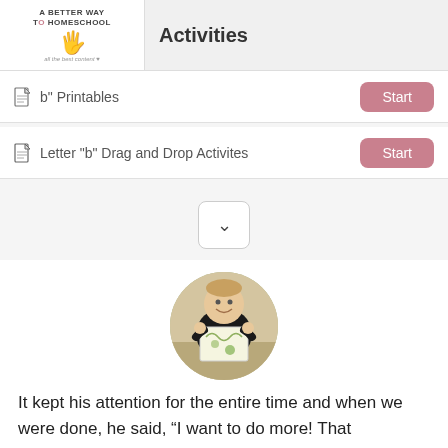Activities
Letter "b" Printables — Start
Letter "b" Drag and Drop Activites — Start
[Figure (photo): Circular cropped photo of a young boy smiling and holding up a piece of paper with drawings/artwork on it. He is wearing a black shirt.]
It kept his attention for the entire time and when we were done, he said, “I want to do more! That